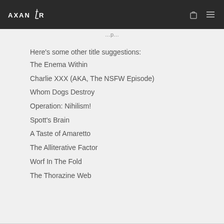AXANR [logo] [bag icon] [menu icon]
Here's some other title suggestions:
The Enema Within
Charlie XXX (AKA, The NSFW Episode)
Whom Dogs Destroy
Operation: Nihilism!
Spott's Brain
A Taste of Amaretto
The Alliterative Factor
Worf In The Fold
The Thorazine Web